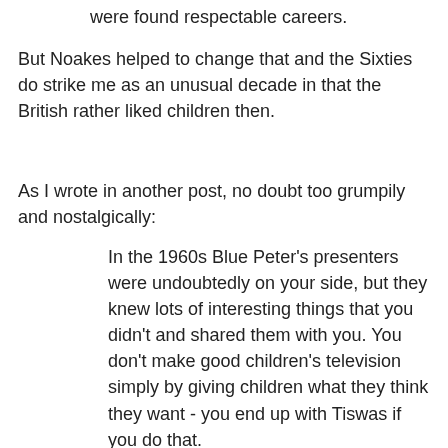were found respectable careers.
But Noakes helped to change that and the Sixties do strike me as an unusual decade in that the British rather liked children then.
As I wrote in another post, no doubt too grumpily and nostalgically:
In the 1960s Blue Peter's presenters were undoubtedly on your side, but they knew lots of interesting things that you didn't and shared them with you. You don't make good children's television simply by giving children what they think they want - you end up with Tiswas if you do that.
Today's Blue Peter producers put me in mind of Outnumbered, whose scripts will one day be studied as a key text in the uselessness of middle-class parenting in the early 21st century:
What these modern middle-class